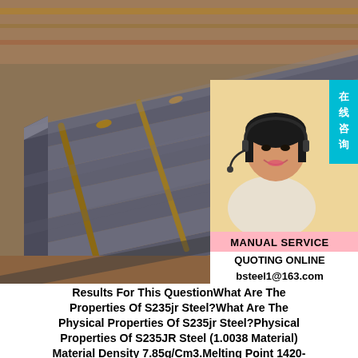[Figure (photo): Stack of gray steel plates stored outdoors on wooden supports, with rusty metal in background. An inset photo shows a woman with a headset (customer service representative) with a pink 'MANUAL SERVICE' banner, 'QUOTING ONLINE' text, email 'bsteel1@163.com', and a cyan Chinese badge reading '在线咨询' (Online Consultation).]
Results For This QuestionWhat Are The Properties Of S235jr Steel?What Are The Physical Properties Of S235jr Steel?Physical Properties Of S235JR Steel (1.0038 Material) Material Density 7.85g/Cm3.Melting Point 1420-1460 °C (2590-2660 °F)EN 1.0038 Steel S235JR Material Equivalent,Properties,Composition Sp.Info Results For This Question Equivalent S235JR Steel Mechanical...